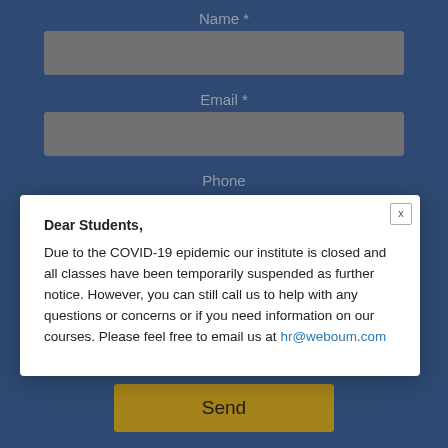Name *
Email *
Phone
Dear Students,

Due to the COVID-19 epidemic our institute is closed and all classes have been temporarily suspended as further notice. However, you can still call us to help with any questions or concerns or if you need information on our courses. Please feel free to email us at hr@weboum.com
[Figure (other): reCAPTCHA widget with checkbox labeled I'm not a robot]
Send